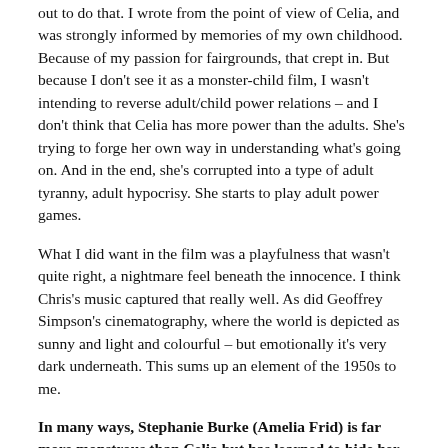out to do that. I wrote from the point of view of Celia, and was strongly informed by memories of my own childhood. Because of my passion for fairgrounds, that crept in. But because I don't see it as a monster-child film, I wasn't intending to reverse adult/child power relations – and I don't think that Celia has more power than the adults. She's trying to forge her own way in understanding what's going on. And in the end, she's corrupted into a type of adult tyranny, adult hypocrisy. She starts to play adult power games.
What I did want in the film was a playfulness that wasn't quite right, a nightmare feel beneath the innocence. I think Chris's music captured that really well. As did Geoffrey Simpson's cinematography, where the world is depicted as sunny and light and colourful – but emotionally it's very dark underneath. This sums up an element of the 1950s to me.
In many ways, Stephanie Burke (Amelia Frid) is far more monstrous than Celia but has learned to hide her malice. Will you share some of your thoughts about Stephanie's character?
Stephanie was loosely based on a few children from my